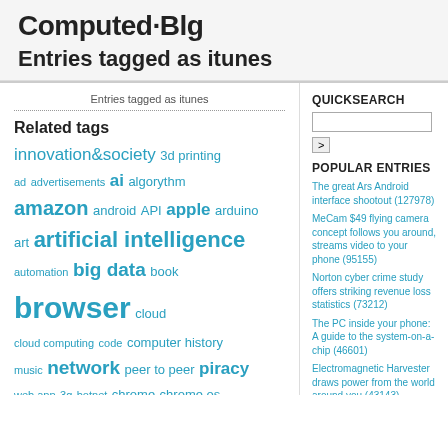Computed·Blg
Entries tagged as itunes
Entries tagged as itunes
Related tags
innovation&society 3d printing ad advertisements ai algorythm amazon android API apple arduino art artificial intelligence automation big data book browser cloud cloud computing code computer history music network peer to peer piracy web app 3g botnet chrome chrome os crowd-sourcing data center data mining data visualisation drone facebook firefox hardware malware
QUICKSEARCH
POPULAR ENTRIES
The great Ars Android interface shootout (127978)
MeCam $49 flying camera concept follows you around, streams video to your phone (95155)
Norton cyber crime study offers striking revenue loss statistics (73212)
The PC inside your phone: A guide to the system-on-a-chip (46601)
Electromagnetic Harvester draws power from the world around you (43143)
CATEGORIES